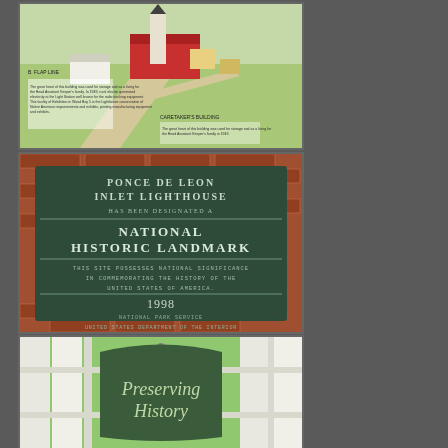[Figure (map): Aerial/isometric illustrated map of the Ponce de Leon Inlet Lighthouse grounds showing buildings and pathways with text labels]
[Figure (photo): Bronze plaque on brick wall reading: PONCE DE LEON INLET LIGHTHOUSE HAS BEEN DESIGNATED A NATIONAL HISTORIC LANDMARK. THIS SITE POSSESSES NATIONAL SIGNIFICANCE IN COMMEMORATING THE HISTORY OF THE UNITED STATES OF AMERICA. 1998. NATIONAL PARK SERVICE UNITED STATES DEPARTMENT OF THE INTERIOR]
[Figure (photo): Green sign hanging on white fence reading 'Preserving History' in italic script]